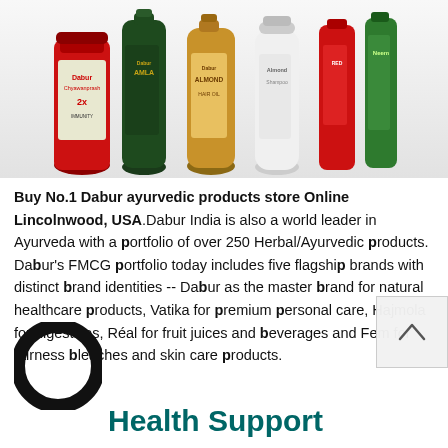[Figure (photo): Row of Dabur product bottles and tubes: Chyawanprash (red jar), Amla hair oil (dark green bottle), Almond hair oil (gold bottle), Almond shampoo (white bottle), a red tube/product, and Neem toothpaste (green tube)]
Buy No.1 Dabur ayurvedic products store Online Lincolnwood, USA.Dabur India is also a world leader in Ayurveda with a portfolio of over 250 Herbal/Ayurvedic products. Dabur's FMCG portfolio today includes five flagship brands with distinct brand identities -- Dabur as the master brand for natural healthcare products, Vatika for premium personal care, Hajmola for digestives, Réal for fruit juices and beverages and Fem for fairness bleaches and skin care products.
[Figure (logo): Black circular ring logo (Dabur or Health Support brand logo)]
Health Support